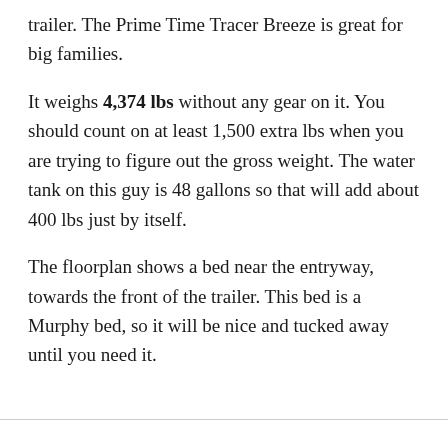trailer. The Prime Time Tracer Breeze is great for big families.
It weighs 4,374 lbs without any gear on it. You should count on at least 1,500 extra lbs when you are trying to figure out the gross weight. The water tank on this guy is 48 gallons so that will add about 400 lbs just by itself.
The floorplan shows a bed near the entryway, towards the front of the trailer. This bed is a Murphy bed, so it will be nice and tucked away until you need it.